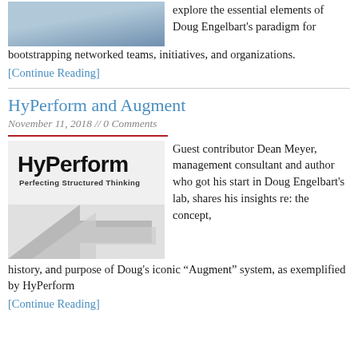[Figure (photo): Partial photo of a man in a suit (cropped at top), with blue/grey background]
explore the essential elements of Doug Engelbart's paradigm for bootstrapping networked teams, initiatives, and organizations.
[Continue Reading]
HyPerform and Augment
November 11, 2018 // 0 Comments
[Figure (logo): HyPerform logo with text 'HyPerform' and subtitle 'Perfecting Structured Thinking', with arrow graphic at bottom]
Guest contributor Dean Meyer, management consultant and author who got his start in Doug Engelbart's lab, shares his insights re: the concept, history, and purpose of Doug's iconic “Augment” system, as exemplified by HyPerform
[Continue Reading]